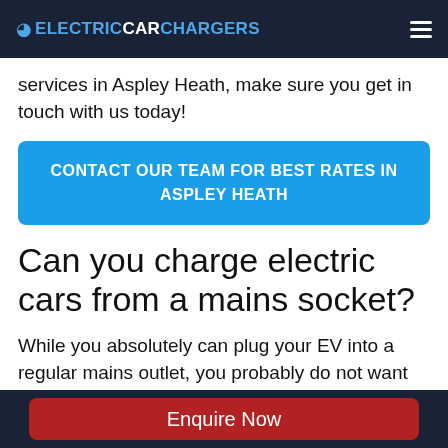ELECTRICCARCHARGERS
services in Aspley Heath, make sure you get in touch with us today!
CONTACT OUR TEAM FOR BEST RATES IN ASPLEY HEATH
Can you charge electric cars from a mains socket?
While you absolutely can plug your EV into a regular mains outlet, you probably do not want
Enquire Now